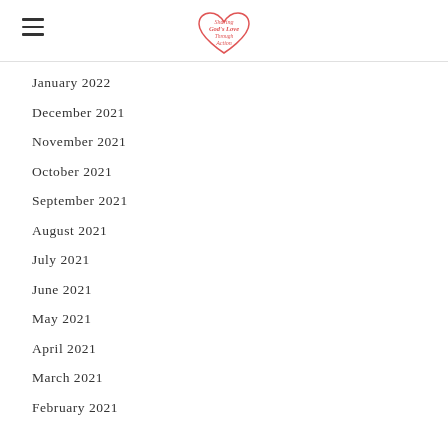Sharing God's Love Through Action
January 2022
December 2021
November 2021
October 2021
September 2021
August 2021
July 2021
June 2021
May 2021
April 2021
March 2021
February 2021